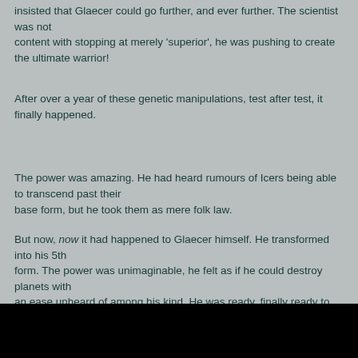insisted that Glaecer could go further, and ever further. The scientist was not content with stopping at merely 'superior', he was pushing to create the ultimate warrior!
After over a year of these genetic manipulations, test after test, it finally happened.
The power was amazing. He had heard rumours of Icers being able to transcend past their base form, but he took them as mere folk law.
But now, now it had happened to Glaecer himself. He transformed into his 5th form. The power was unimaginable, he felt as if he could destroy planets with an ease unheard of among his kind. He was ready, finally ready to prove beyond any doubt that he was the ultimate fighter.